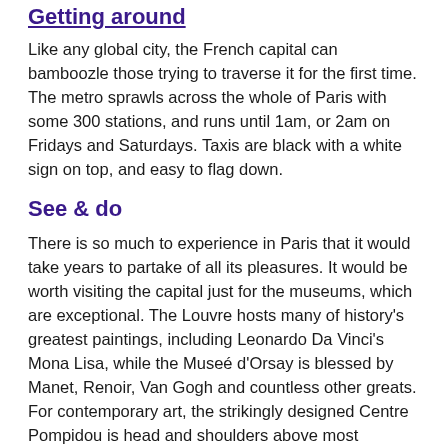Getting around
Like any global city, the French capital can bamboozle those trying to traverse it for the first time. The metro sprawls across the whole of Paris with some 300 stations, and runs until 1am, or 2am on Fridays and Saturdays. Taxis are black with a white sign on top, and easy to flag down.
See & do
There is so much to experience in Paris that it would take years to partake of all its pleasures. It would be worth visiting the capital just for the museums, which are exceptional. The Louvre hosts many of history's greatest paintings, including Leonardo Da Vinci's Mona Lisa, while the Museé d'Orsay is blessed by Manet, Renoir, Van Gogh and countless other greats. For contemporary art, the strikingly designed Centre Pompidou is head and shoulders above most galleries of its kind.
In terms of religious buildings, Notre Dame looms over the river Seine from its right-on-the-front-steps of French...